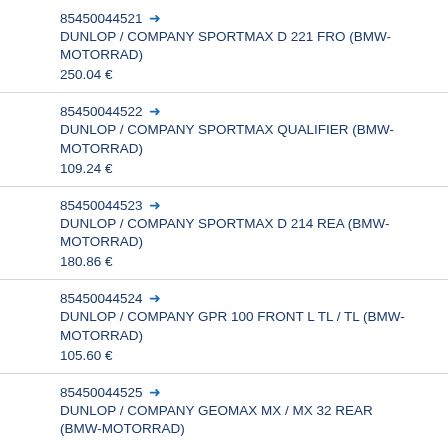85450044521 → DUNLOP / COMPANY SPORTMAX D 221 FRO (BMW-MOTORRAD) 250.04 €
85450044522 → DUNLOP / COMPANY SPORTMAX QUALIFIER (BMW-MOTORRAD) 109.24 €
85450044523 → DUNLOP / COMPANY SPORTMAX D 214 REA (BMW-MOTORRAD) 180.86 €
85450044524 → DUNLOP / COMPANY GPR 100 FRONT L TL / TL (BMW-MOTORRAD) 105.60 €
85450044525 → DUNLOP / COMPANY GEOMAX MX / MX 32 REAR (BMW-MOTORRAD)